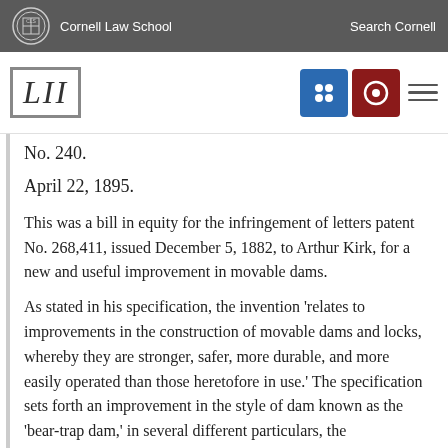Cornell Law School   Search Cornell
[Figure (logo): LII Legal Information Institute logo with navigation icons]
No. 240.
April 22, 1895.
This was a bill in equity for the infringement of letters patent No. 268,411, issued December 5, 1882, to Arthur Kirk, for a new and useful improvement in movable dams.
As stated in his specification, the invention 'relates to improvements in the construction of movable dams and locks, whereby they are stronger, safer, more durable, and more easily operated than those heretofore in use.' The specification sets forth an improvement in the style of dam known as the 'bear-trap dam,' in several different particulars, the